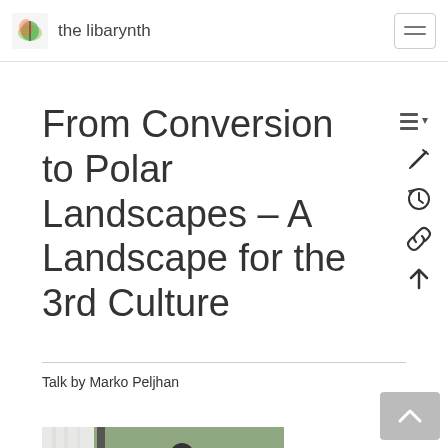the libarynth
From Conversion to Polar Landscapes – A Landscape for the 3rd Culture
Talk by Marko Peljhan
http://www.interpolar.org
[Figure (photo): Photo of a person standing in a room with a green wall, appears to be giving a talk or presentation.]